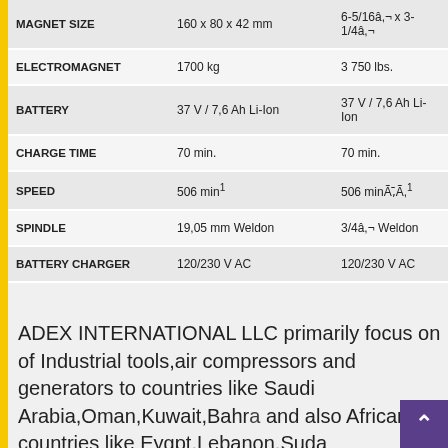|  |  |  |
| --- | --- | --- |
| MAGNET SIZE | 160 x 80 x 42 mm | 6-5/16â,¬ x 3-1/4â,¬ |
| ELECTROMAGNET | 1700 kg | 3 750 lbs. |
| BATTERY | 37 V / 7,6 Ah Li-Ion | 37 V / 7,6 Ah Li-Ion |
| CHARGE TIME | 70 min. | 70 min. |
| SPEED | 506 min¹ | 506 minÃ,¯Ã,¹ |
| SPINDLE | 19,05 mm Weldon | 3/4â,¬ Weldon |
| BATTERY CHARGER | 120/230 V AC | 120/230 V AC |
ADEX INTERNATIONAL LLC primarily focus on of Industrial tools,air compressors and generators to countries like Saudi Arabia,Oman,Kuwait,Bahrain and also African countries like Eygpt,Lebanon,Suda